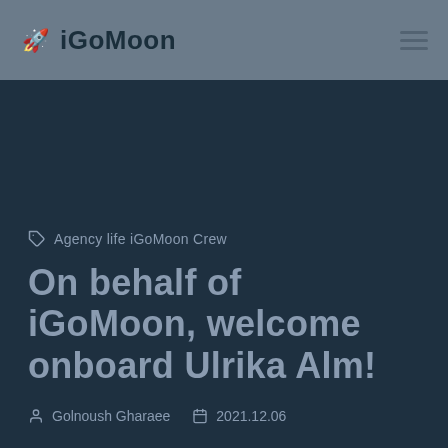iGoMoon
Agency life iGoMoon Crew
On behalf of iGoMoon, welcome onboard Ulrika Alm!
Golnoush Gharaee  2021.12.06